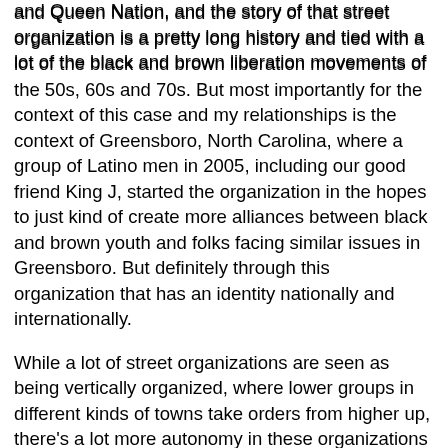and Queen Nation, and the story of that street organization is a pretty long history and tied with a lot of the black and brown liberation movements of the 50s, 60s and 70s. But most importantly for the context of this case and my relationships is the context of Greensboro, North Carolina, where a group of Latino men in 2005, including our good friend King J, started the organization in the hopes to just kind of create more alliances between black and brown youth and folks facing similar issues in Greensboro. But definitely through this organization that has an identity nationally and internationally.
While a lot of street organizations are seen as being vertically organized, where lower groups in different kinds of towns take orders from higher up, there's a lot more autonomy in these organizations than a lot of people think. So naturally just by being an anarchist in Greensboro, and seeing each other at the same kinds of things, whether it's about speak-outs, marches against police brutality, or hearing about each others court cases, and living in the same neighborhood, we just kind of became friends, and started doing different organizing efforts together, mostly around prison and policing in North Carolina.
Clara: So there's been a lot of debate in anarchist circles amongst folks who are involved in supporting prisoners